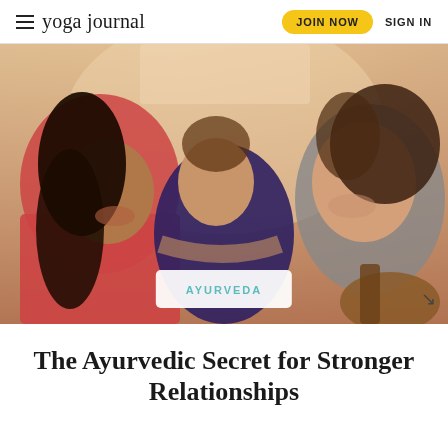yoga journal | JOIN NOW | SIGN IN
[Figure (photo): Three women laughing and embracing together, one wearing red, one in dark purple/navy, one with curly hair in gray. A guitar is partially visible.]
AYURVEDA
The Ayurvedic Secret for Stronger Relationships